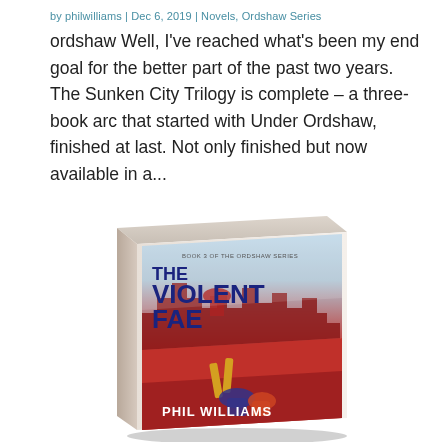by philwilliams | Dec 6, 2019 | Novels, Ordshaw Series
ordshaw Well, I've reached what's been my end goal for the better part of the past two years. The Sunken City Trilogy is complete – a three-book arc that started with Under Ordshaw,  finished at last. Not only finished but now available in a...
[Figure (photo): Book cover of 'The Violent Fae' by Phil Williams – Book 3 of the Ordshaw Series. The cover features a red and white cityscape with the title in large blue letters and the author name at the bottom. The book is shown as a physical 3D paperback.]